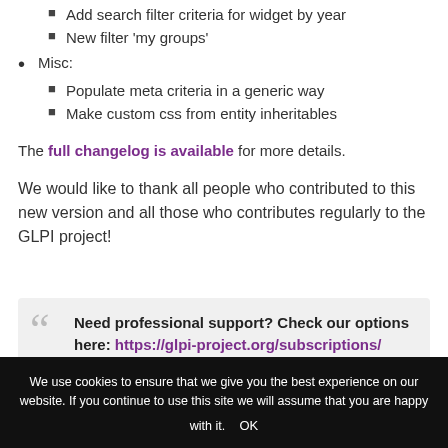Add search filter criteria for widget by year
New filter 'my groups'
Misc:
Populate meta criteria in a generic way
Make custom css from entity inheritables
The full changelog is available for more details.
We would like to thank all people who contributed to this new version and all those who contributes regularly to the GLPI project!
Need professional support? Check our options here: https://glpi-project.org/subscriptions/
We use cookies to ensure that we give you the best experience on our website. If you continue to use this site we will assume that you are happy with it. OK